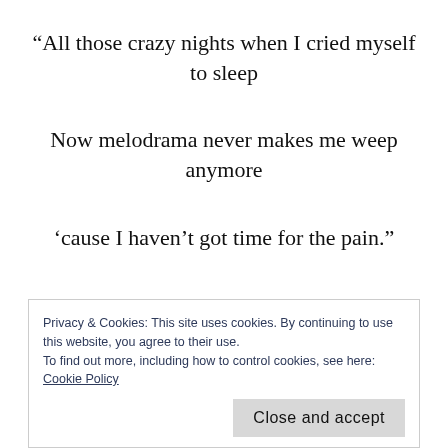“All those crazy nights when I cried myself to sleep

Now melodrama never makes me weep anymore

‘cause I haven’t got time for the pain.”
Privacy & Cookies: This site uses cookies. By continuing to use this website, you agree to their use.
To find out more, including how to control cookies, see here:
Cookie Policy
Close and accept
Time recently became redefined to myself as a